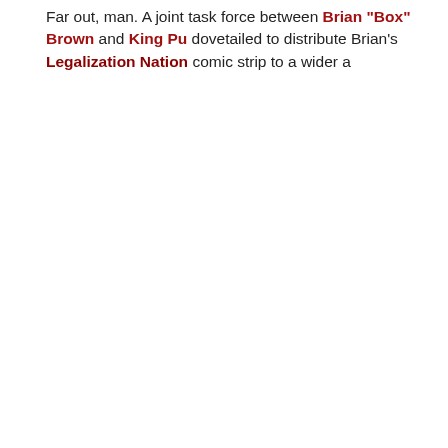Far out, man. A joint task force between Brian "Box" Brown and King Pu... dovetailed to distribute Brian's Legalization Nation comic strip to a wider a...